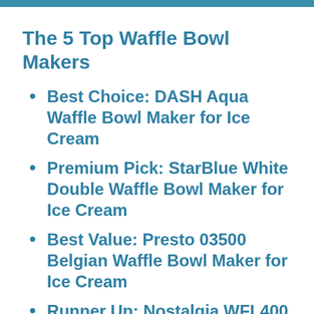The 5 Top Waffle Bowl Makers
Best Choice: DASH Aqua Waffle Bowl Maker for Ice Cream
Premium Pick: StarBlue White Double Waffle Bowl Maker for Ice Cream
Best Value: Presto 03500 Belgian Waffle Bowl Maker for Ice Cream
Runner Up: Nostalgia WFL400 Pink Waffle Bowl Maker
Honorable Mention: Waffle Cone…